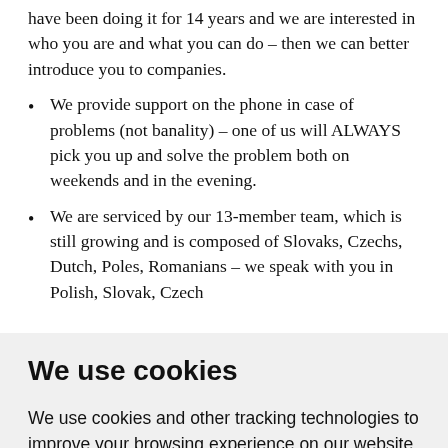have been doing it for 14 years and we are interested in who you are and what you can do – then we can better introduce you to companies.
We provide support on the phone in case of problems (not banality) – one of us will ALWAYS pick you up and solve the problem both on weekends and in the evening.
We are serviced by our 13-member team, which is still growing and is composed of Slovaks, Czechs, Dutch, Poles, Romanians – we speak with you in Polish, Slovak, Czech
We use cookies
We use cookies and other tracking technologies to improve your browsing experience on our website, to show you personalized content and targeted ads, to analyze our website traffic, and